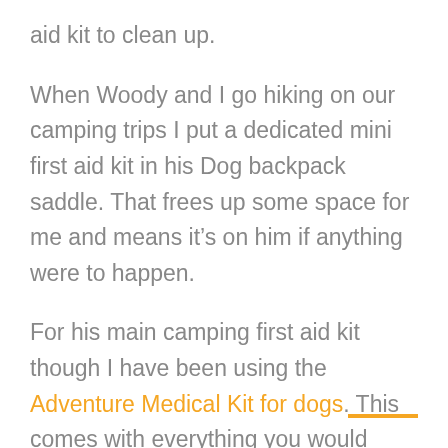aid kit to clean up.
When Woody and I go hiking on our camping trips I put a dedicated mini first aid kit in his Dog backpack saddle. That frees up some space for me and means it’s on him if anything were to happen.
For his main camping first aid kit though I have been using the Adventure Medical Kit for dogs. This comes with everything you would expect for dealing with minor injuries while camping.